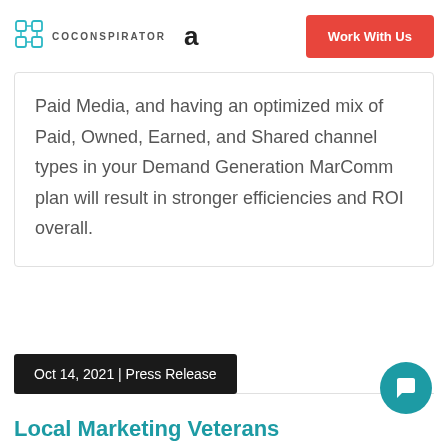COCONSPIRATOR  a  Work With Us
Paid Media, and having an optimized mix of Paid, Owned, Earned, and Shared channel types in your Demand Generation MarComm plan will result in stronger efficiencies and ROI overall.
Oct 14, 2021 | Press Release
Local Marketing Veterans